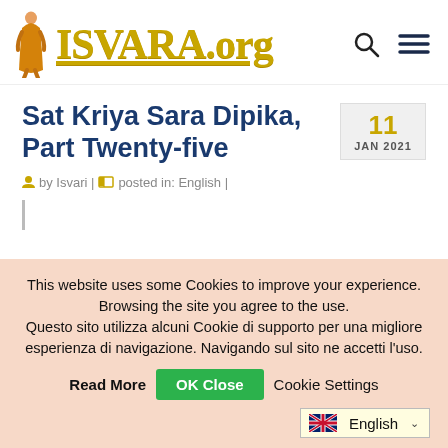ISVARA.org
Sat Kriya Sara Dipika, Part Twenty-five
11 JAN 2021
by Isvari | posted in: English |
This website uses some Cookies to improve your experience. Browsing the site you agree to the use. Questo sito utilizza alcuni Cookie di supporto per una migliore esperienza di navigazione. Navigando sul sito ne accetti l'uso.
Read More   OK Close   Cookie Settings
English